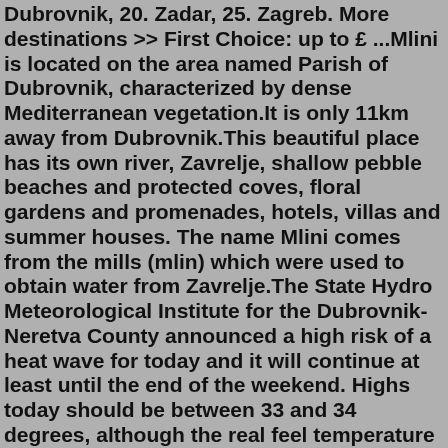Dubrovnik, 20. Zadar, 25. Zagreb. More destinations >> First Choice: up to £ ...Mlini is located on the area named Parish of Dubrovnik, characterized by dense Mediterranean vegetation.It is only 11km away from Dubrovnik.This beautiful place has its own river, Zavrelje, shallow pebble beaches and protected coves, floral gardens and promenades, hotels, villas and summer houses. The name Mlini comes from the mills (mlin) which were used to obtain water from Zavrelje.The State Hydro Meteorological Institute for the Dubrovnik-Neretva County announced a high risk of a heat wave for today and it will continue at least until the end of the weekend. Highs today should be between 33 and 34 degrees, although the real feel temperature predicts 37 degrees. Temperatures will remain in the mid-thirties until the end ...From June to September the heat will linger over 24°C with average temperatures exceeding 20°C and the summer season in Dubrovnik will be at its peak. For the duration of the summer months, the water temperatures in the beach resorts and bays of